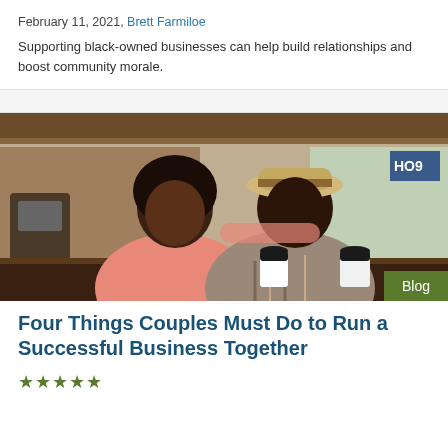February 11, 2021, Brett Farmiloe
Supporting black-owned businesses can help build relationships and boost community morale.
[Figure (photo): Two Black men leaning on a counter at what appears to be a food truck or coffee shop, each holding a coffee cup, smiling at the camera.]
Blog
Four Things Couples Must Do to Run a Successful Business Together
★★★★★